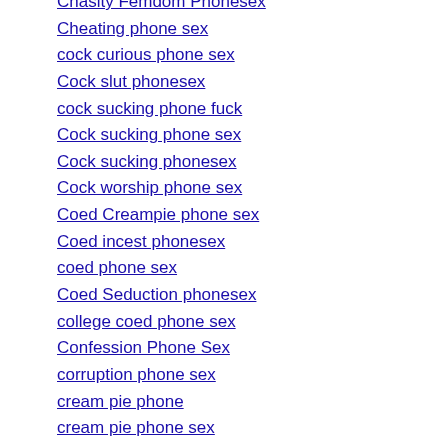Chasity Femdom Phonesex
Cheating phone sex
cock curious phone sex
Cock slut phonesex
cock sucking phone fuck
Cock sucking phone sex
Cock sucking phonesex
Cock worship phone sex
Coed Creampie phone sex
Coed incest phonesex
coed phone sex
Coed Seduction phonesex
college coed phone sex
Confession Phone Sex
corruption phone sex
cream pie phone
cream pie phone sex
Creampie cum slut
creampie phone sex